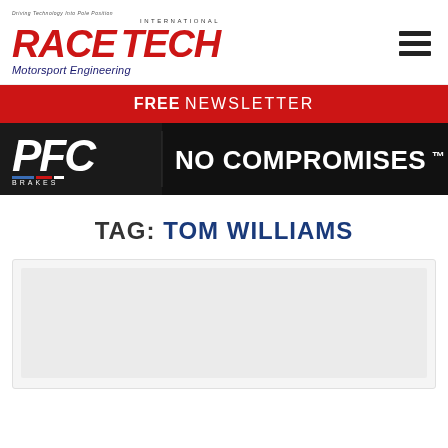RACE TECH International — Motorsport Engineering
FREE NEWSLETTER
[Figure (other): PFC Brakes advertisement banner with logo and 'NO COMPROMISES™' text on black background]
TAG: TOM WILLIAMS
[Figure (photo): Article card placeholder with light grey background]